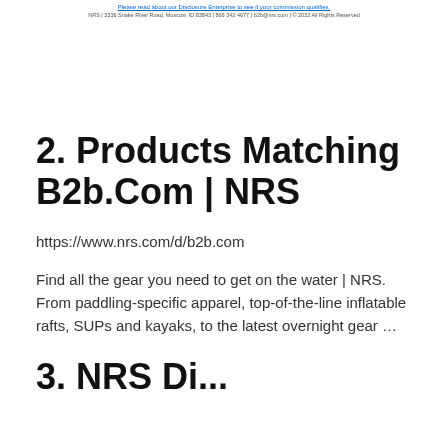Please read about our Disclosure Enterprise to see if your commission qualifies.
NRS | 3336 Snake River Road, Moscow, ID 83843 | 866 342 4677 | b2b@nrs.com | © 2022 All Rights Reserved
2. Products Matching B2b.Com | NRS
https://www.nrs.com/d/b2b.com
Find all the gear you need to get on the water | NRS. From paddling-specific apparel, top-of-the-line inflatable rafts, SUPs and kayaks, to the latest overnight gear …
3. NRS Di...